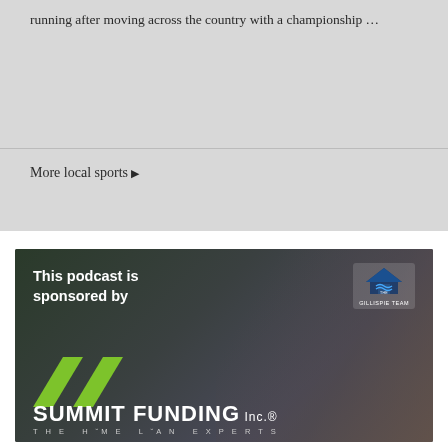running after moving across the country with a championship ...
More local sports ▶
[Figure (illustration): Advertisement banner for Summit Funding Inc. - The Home Loan Experts, sponsored by The Gillispie Team. Dark background with family image on right, green chevron logo and white text on left reading 'This podcast is sponsored by' above the Summit Funding branding.]